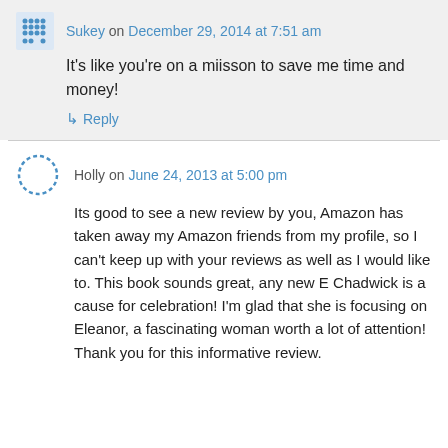Sukey on December 29, 2014 at 7:51 am
It's like you're on a miisson to save me time and money!
↳ Reply
Holly on June 24, 2013 at 5:00 pm
Its good to see a new review by you, Amazon has taken away my Amazon friends from my profile, so I can't keep up with your reviews as well as I would like to. This book sounds great, any new E Chadwick is a cause for celebration! I'm glad that she is focusing on Eleanor, a fascinating woman worth a lot of attention! Thank you for this informative review.